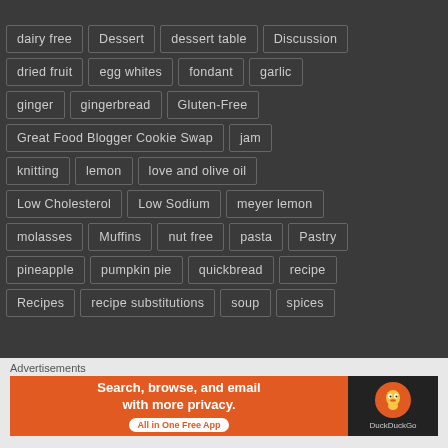dairy free, Dessert, dessert table, Discussion
dried fruit, egg whites, fondant, garlic
ginger, gingerbread, Gluten-Free
Great Food Blogger Cookie Swap, jam
knitting, lemon, love and olive oil
Low Cholesterol, Low Sodium, meyer lemon
molasses, Muffins, nut free, pasta, Pastry
pineapple, pumpkin pie, quickbread, recipe
Recipes, recipe substitutions, soup, spices
Advertisements
[Figure (screenshot): DuckDuckGo advertisement banner: Search, browse, and email with more privacy. All in One Free App. DuckDuckGo logo on dark background.]